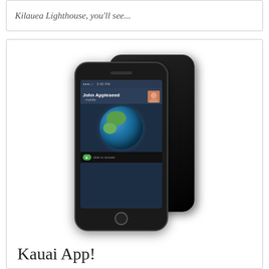Kilauea Lighthouse, you'll see...
[Figure (photo): Two iPhones shown together — one displaying the front screen with a call from 'John Appleseed' and an Earth image with 'slide to answer', the other showing the back with the Apple logo.]
Kauai App!